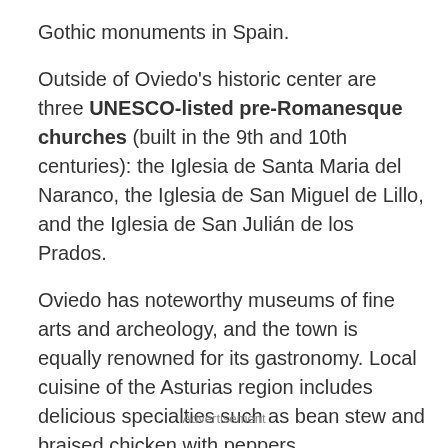Gothic monuments in Spain.
Outside of Oviedo's historic center are three UNESCO-listed pre-Romanesque churches (built in the 9th and 10th centuries): the Iglesia de Santa Maria del Naranco, the Iglesia de San Miguel de Lillo, and the Iglesia de San Julián de los Prados.
Oviedo has noteworthy museums of fine arts and archeology, and the town is equally renowned for its gastronomy. Local cuisine of the Asturias region includes delicious specialties such as bean stew and braised chicken with peppers.
Advertisement